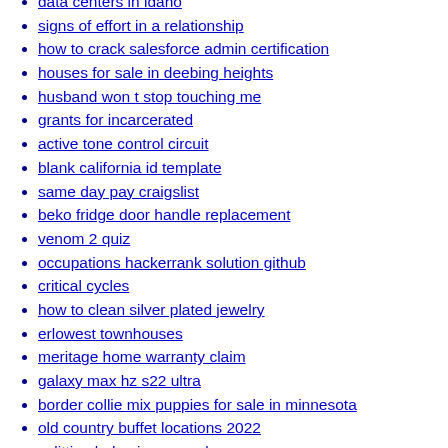data centers in idaho
signs of effort in a relationship
how to crack salesforce admin certification
houses for sale in deebing heights
husband won t stop touching me
grants for incarcerated
active tone control circuit
blank california id template
same day pay craigslist
beko fridge door handle replacement
venom 2 quiz
occupations hackerrank solution github
critical cycles
how to clean silver plated jewelry
erlowest townhouses
meritage home warranty claim
galaxy max hz s22 ultra
border collie mix puppies for sale in minnesota
old country buffet locations 2022
splitting behavior examples
ute tribe arts and crafts
pine hills address
fusion softball pa
garage sales labor day weekend
dui suspended license pa